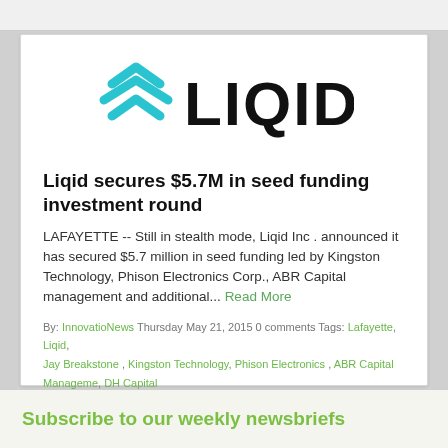[Figure (logo): LIQID logo with teal/cyan wave-like icon on the left and bold black LIQID text on the right]
Liqid secures $5.7M in seed funding investment round
LAFAYETTE -- Still in stealth mode, Liqid Inc . announced it has secured $5.7 million in seed funding led by Kingston Technology, Phison Electronics Corp., ABR Capital management and additional... Read More
By: InnovatioNews Thursday May 21, 2015 0 comments Tags: Lafayette, Liqid, Jay Breakstone, Kingston Technology, Phison Electronics , ABR Capital Manageme, DH Capital
Subscribe to our weekly newsbriefs